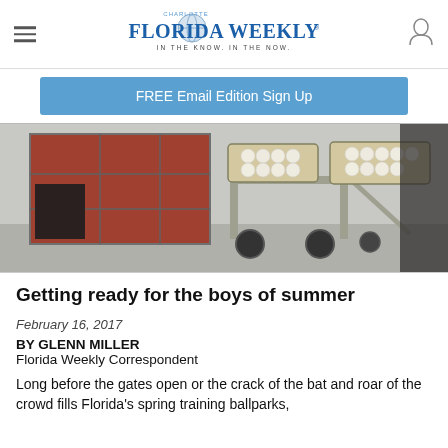Charlotte Florida Weekly — IN THE KNOW. IN THE NOW.
FREE Email Edition Sign Up
[Figure (photo): Photo of baseball equipment carts loaded with baseballs near a red storage building at a spring training facility.]
Getting ready for the boys of summer
February 16, 2017
BY GLENN MILLER
Florida Weekly Correspondent
Long before the gates open or the crack of the bat and roar of the crowd fills Florida's spring training ballparks,